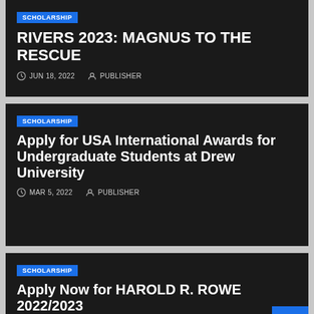[Figure (screenshot): Card 1: Scholarship badge, title RIVERS 2023: MAGNUS TO THE RESCUE, date JUN 18 2022, author PUBLISHER]
[Figure (screenshot): Card 2: Scholarship badge, title Apply for USA International Awards for Undergraduate Students at Drew University, date MAR 5 2022, author PUBLISHER]
[Figure (screenshot): Card 3: Scholarship badge, title Apply Now for HAROLD R. ROWE 2022/2023, with scroll-to-top button]